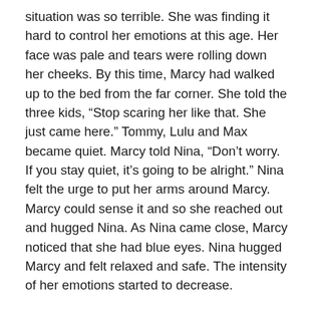situation was so terrible. She was finding it hard to control her emotions at this age. Her face was pale and tears were rolling down her cheeks. By this time, Marcy had walked up to the bed from the far corner. She told the three kids, “Stop scaring her like that. She just came here.” Tommy, Lulu and Max became quiet. Marcy told Nina, “Don’t worry. If you stay quiet, it’s going to be alright.” Nina felt the urge to put her arms around Marcy. Marcy could sense it and so she reached out and hugged Nina. As Nina came close, Marcy noticed that she had blue eyes. Nina hugged Marcy and felt relaxed and safe. The intensity of her emotions started to decrease.
Cindy was having the time of her life. With Vynnie gone, she was getting more space and feeling more relaxed. There was no constant fear of being bullied. She would enjoy it even more after she had become older. Being only one year old, she couldn’t move that much. She hoped